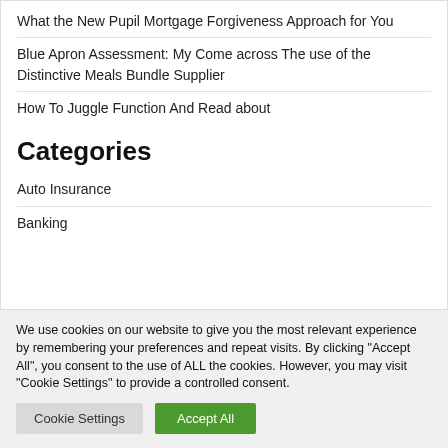What the New Pupil Mortgage Forgiveness Approach for You
Blue Apron Assessment: My Come across The use of the Distinctive Meals Bundle Supplier
How To Juggle Function And Read about
Categories
Auto Insurance
Banking
We use cookies on our website to give you the most relevant experience by remembering your preferences and repeat visits. By clicking "Accept All", you consent to the use of ALL the cookies. However, you may visit "Cookie Settings" to provide a controlled consent.